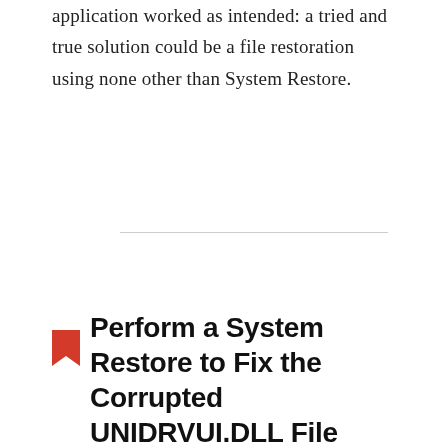application worked as intended: a tried and true solution could be a file restoration using none other than System Restore.
Perform a System Restore to Fix the Corrupted UNIDRVUI.DLL File
[Figure (screenshot): Windows Settings screenshot showing 'Reset this PC' panel with 'Find a setting' search box, text about resetting the PC, and a Get started button]